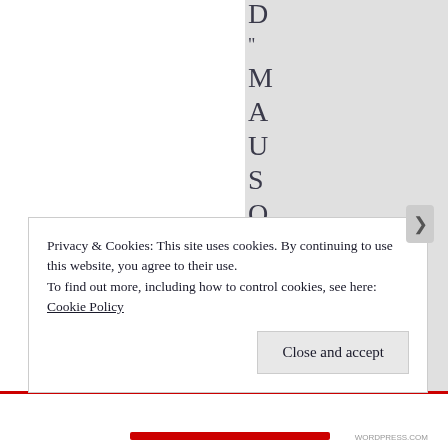D " M A U S O L E U M
Privacy & Cookies: This site uses cookies. By continuing to use this website, you agree to their use.
To find out more, including how to control cookies, see here: Cookie Policy
Close and accept